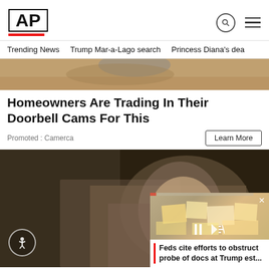AP
Trending News   Trump Mar-a-Lago search   Princess Diana's dea
[Figure (photo): Cropped image of baked bread or food, top of article image]
Homeowners Are Trading In Their Doorbell Cams For This
Promoted : Camerca
[Figure (photo): Woman with glasses resting hand on forehead, looking stressed; video overlay in bottom right showing documents at Trump estate with caption 'Feds cite efforts to obstruct probe of docs at Trump est...']